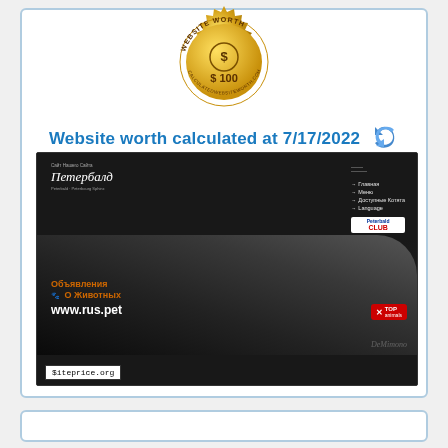[Figure (illustration): Gold coin/seal badge with text 'WEBSITE WORTH' around the edge and '$ 100' in the center]
Website worth calculated at 7/17/2022
[Figure (screenshot): Screenshot of a website (peterbald cat breeder site) with Russian text 'Объявления О Животных www.rus.pet', navigation menu on right, dark background with a sphynx/peterbald cat image, $iteprice.org watermark]